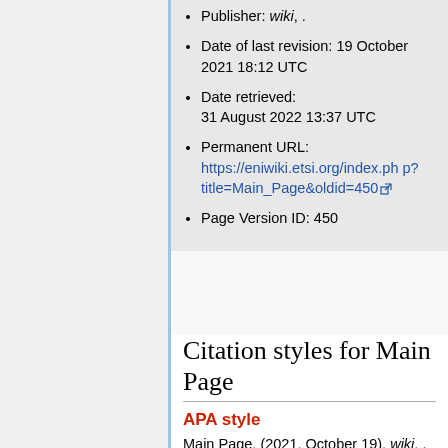Publisher: wiki, .
Date of last revision: 19 October 2021 18:12 UTC
Date retrieved: 31 August 2022 13:37 UTC
Permanent URL: https://eniwiki.etsi.org/index.php?title=Main_Page&oldid=450
Page Version ID: 450
Citation styles for Main Page
APA style
Main Page. (2021, October 19). wiki, . Retrieved 13:37, August 31, 2022